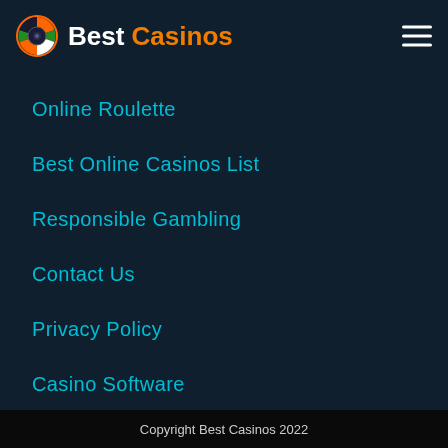Best Casinos
Online Roulette
Best Online Casinos List
Responsible Gambling
Contact Us
Privacy Policy
Casino Software
About Us
Copyright Best Casinos 2022